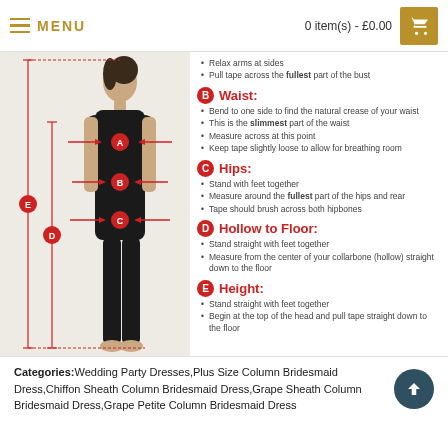MENU   0 item(s) - £0.00
[Figure (illustration): Woman figure with measurement labels A (bust), B (waist), C (hips), D (hollow to floor), E (height) shown with red arrows and badges]
Relax arms at sides
Pull tape across the fullest part of the bust
B Waist:
Bend to one side to find the natural crease of your waist
This is the slimmest part of the waist
Measure across at this point
Keep tape slightly loose to allow for breathing room
C Hips:
Stand with feet together
Measure around the fullest part of the hips and rear
Tape should brush across both hipbones
D Hollow to Floor:
Stand straight with feet together
Measure from the center of your collarbone (hollow) straight down to the floor
E Height:
Stand straight with feet together
Begin at the top of the head and pull tape straight down to the floor
Categories: Wedding Party Dresses, Plus Size Column Bridesmaid Dress, Chiffon Sheath Column Bridesmaid Dress, Grape Sheath Column Bridesmaid Dress, Grape Petite Column Bridesmaid Dress